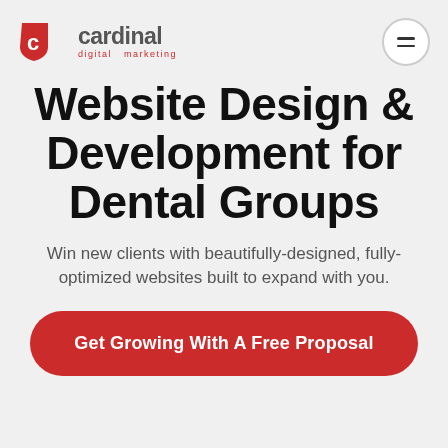[Figure (logo): Cardinal Digital Marketing logo — red shield/arrow icon with 'cardinal' wordmark and 'digital marketing' tagline in gray/red]
Website Design & Development for Dental Groups
Win new clients with beautifully-designed, fully-optimized websites built to expand with you.
Get Growing With A Free Proposal